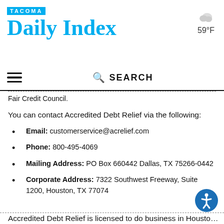TACOMA Daily Index | 59°F
...Fair Credit Council.
You can contact Accredited Debt Relief via the following:
Email: customerservice@acrelief.com
Phone: 800-495-4069
Mailing Address: PO Box 660442 Dallas, TX 75266-0442
Corporate Address: 7322 Southwest Freeway, Suite 1200, Houston, TX 77074
Accredited Debt Relief is licensed to do business in Houston...